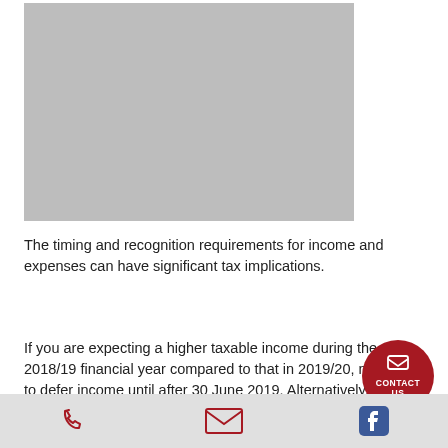[Figure (photo): Gray placeholder image occupying upper portion of the page]
The timing and recognition requirements for income and expenses can have significant tax implications.
If you are expecting a higher taxable income during the 2018/19 financial year compared to that in 2019/20, you may want to defer income until after 30 June 2019. Alternatively, you may want to bring forward some expenses.
Phone | Email | Facebook contact icons